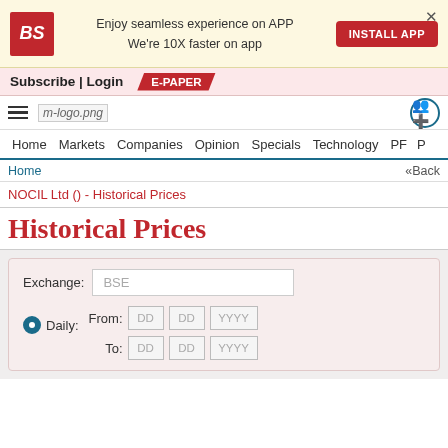[Figure (screenshot): Business Standard app install banner with BS logo, promotional text, and INSTALL APP button]
Subscribe | Login   E-PAPER
[Figure (logo): Business Standard mobile navigation bar with hamburger menu, m-logo.png, and app icon]
Home   Markets   Companies   Opinion   Specials   Technology   PF   P
Home   «Back
NOCIL Ltd () - Historical Prices
Historical Prices
Exchange: BSE
Daily:
From: DD DD YYYY
To: DD DD YYYY